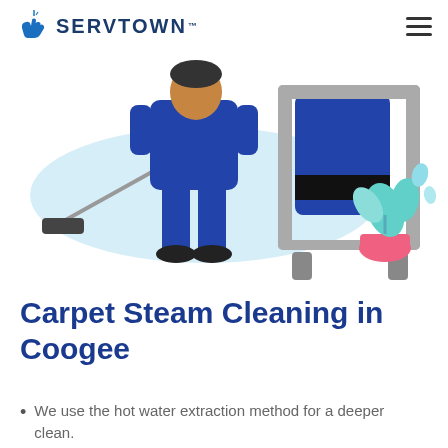SERVTOWN™
[Figure (illustration): Illustration of a carpet cleaning technician in blue uniform using a steam cleaning wand connected to a large blue cleaning machine on a wheeled cart. A decorative plant with pink pot and teal leaves is visible in the top right. A light blue oval blob is in the background.]
Carpet Steam Cleaning in Coogee
We use the hot water extraction method for a deeper clean.